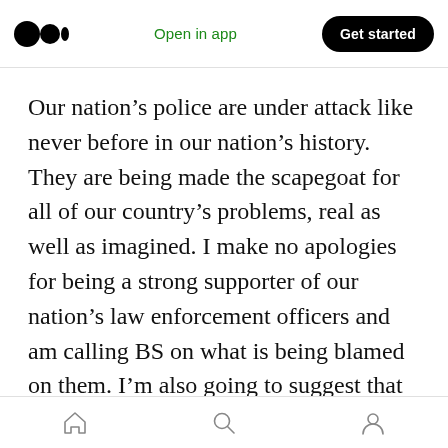Medium app navigation bar — logo, Open in app, Get started
Our nation’s police are under attack like never before in our nation’s history. They are being made the scapegoat for all of our country’s problems, real as well as imagined. I make no apologies for being a strong supporter of our nation’s law enforcement officers and am calling BS on what is being blamed on them. I’m also going to suggest that the actual culprits, the ones who are responsible for what is happening in law enforcement, are the ones at the top. Yup,
Home, Search, Profile icons